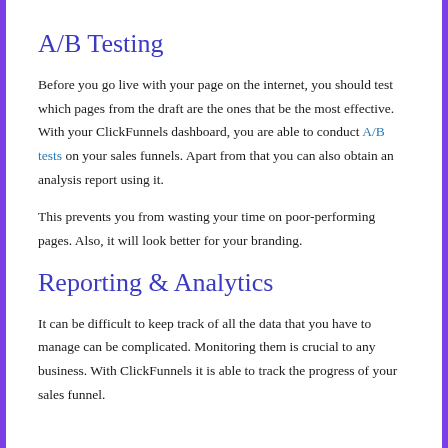A/B Testing
Before you go live with your page on the internet, you should test which pages from the draft are the ones that be the most effective. With your ClickFunnels dashboard, you are able to conduct A/B tests on your sales funnels. Apart from that you can also obtain an analysis report using it.
This prevents you from wasting your time on poor-performing pages. Also, it will look better for your branding.
Reporting & Analytics
It can be difficult to keep track of all the data that you have to manage can be complicated. Monitoring them is crucial to any business. With ClickFunnels it is able to track the progress of your sales funnel.